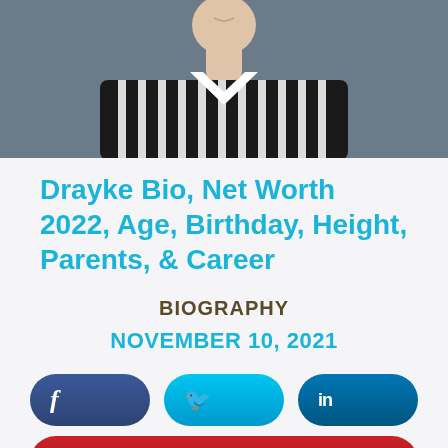[Figure (photo): Photo of a young person wearing a black and white striped shirt with a white V-neck undershirt, photographed against a gray/blue background]
Drayke Bio, Net Worth 2022, Age, Birthday, Height, Parents, & Career
BIOGRAPHY
NOVEMBER 10, 2021
[Figure (infographic): Social media share buttons: Facebook (dark blue rounded pill), Twitter (cyan rounded pill), LinkedIn (dark blue rounded pill), Pinterest (red rounded pill)]